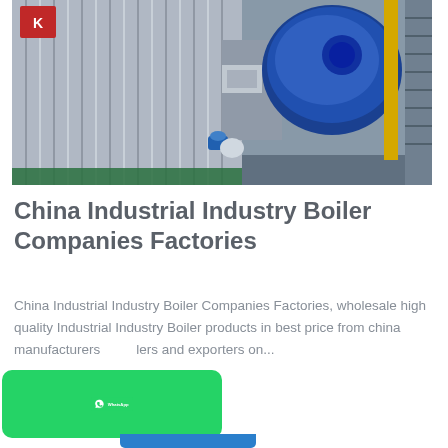[Figure (photo): Industrial boiler system photograph showing a large corrugated silver boiler tank on the left, a blue electric motor/burner unit mounted on the right side of the tank, yellow vertical pipe, metal staircase on the far right, a blue valve at the bottom, and a red logo mark in the upper left corner of the equipment. The boiler is situated in an industrial facility.]
China Industrial Industry Boiler Companies Factories
China Industrial Industry Boiler Companies Factories, wholesale high quality Industrial Industry Boiler products in best price from china manufacturers lers and exporters on...
[Figure (logo): WhatsApp button - green rounded rectangle with WhatsApp phone icon and 'WhatsApp' text in white]